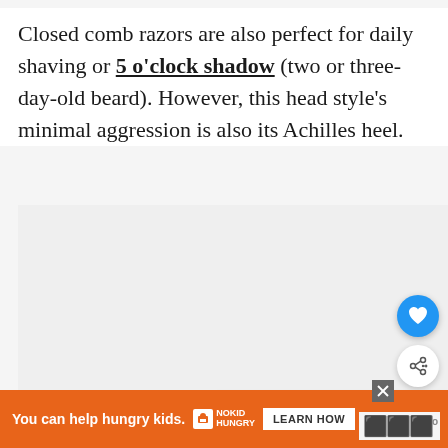Closed comb razors are also perfect for daily shaving or 5 o'clock shadow (two or three-day-old beard). However, this head style's minimal aggression is also its Achilles heel.
[Figure (photo): Image area placeholder (photo content not visible in crop)]
[Figure (infographic): Heart favorite button (blue circle with heart icon) and share button (white circle with share icon). What's Next panel showing 'The 5 Best Adjustable...' with thumbnail image.]
[Figure (infographic): Orange advertisement banner: 'You can help hungry kids.' with No Kid Hungry logo and 'LEARN HOW' button. Dismiss X button. Right side logo marks.]